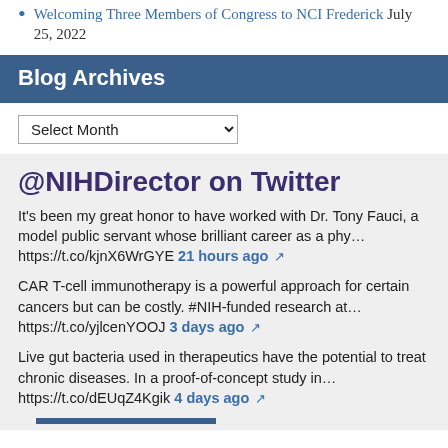Welcoming Three Members of Congress to NCI Frederick July 25, 2022
Blog Archives
Select Month
@NIHDirector on Twitter
It's been my great honor to have worked with Dr. Tony Fauci, a model public servant whose brilliant career as a phy… https://t.co/kjnX6WrGYE 21 hours ago
CAR T-cell immunotherapy is a powerful approach for certain cancers but can be costly. #NIH-funded research at… https://t.co/yjlcenYOOJ 3 days ago
Live gut bacteria used in therapeutics have the potential to treat chronic diseases. In a proof-of-concept study in… https://t.co/dEUqZ4Kgik 4 days ago